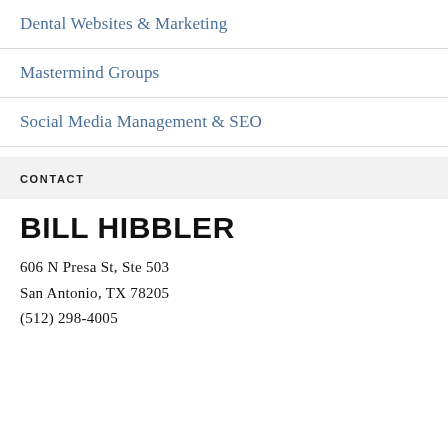Dental Websites & Marketing
Mastermind Groups
Social Media Management & SEO
CONTACT
BILL HIBBLER
606 N Presa St, Ste 503
San Antonio, TX 78205
(512) 298-4005